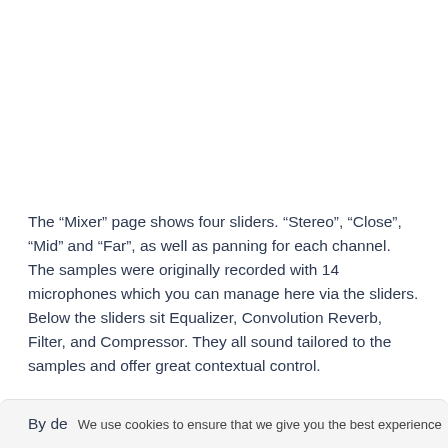The “Mixer” page shows four sliders. “Stereo”, “Close”, “Mid” and “Far”, as well as panning for each channel. The samples were originally recorded with 14 microphones which you can manage here via the sliders. Below the sliders sit Equalizer, Convolution Reverb, Filter, and Compressor. They all sound tailored to the samples and offer great contextual control.
By de… We use cookies to ensure that we give you the best experience …ides